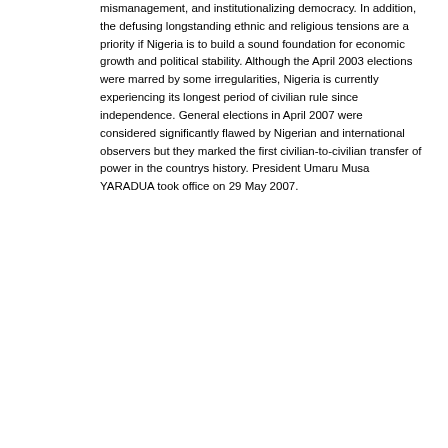mismanagement, and institutionalizing democracy. In addition, the defusing longstanding ethnic and religious tensions are a priority if Nigeria is to build a sound foundation for economic growth and political stability. Although the April 2003 elections were marred by some irregularities, Nigeria is currently experiencing its longest period of civilian rule since independence. General elections in April 2007 were considered significantly flawed by Nigerian and international observers but they marked the first civilian-to-civilian transfer of power in the countrys history. President Umaru Musa YARADUA took office on 29 May 2007.